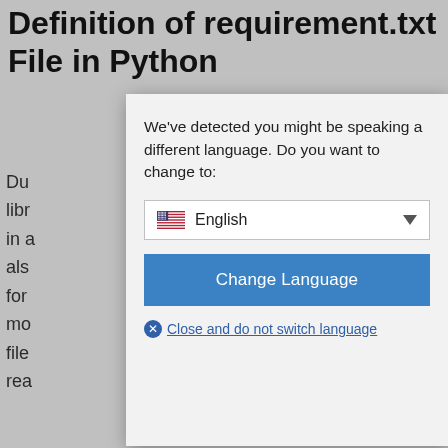Definition of requirement.txt File in Python
Du... ect, libr... ted in a... . It als... ded for... . In mo... the file... The rea... cts
[Figure (screenshot): A browser language-change modal dialog overlaid on a webpage. The modal contains the text 'We've detected you might be speaking a different language. Do you want to change to:' followed by a dropdown showing a US flag and 'English', a blue 'Change Language' button, and a 'Close and do not switch language' link with a circle-x icon.]
OK
Learn more
Importa... of requirement.txt File in Python